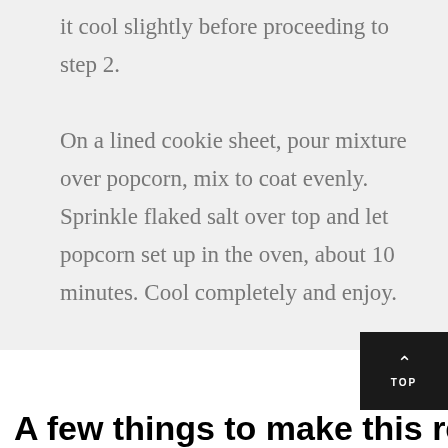it cool slightly before proceeding to step 2.
On a lined cookie sheet, pour mixture over popcorn, mix to coat evenly. Sprinkle flaked salt over top and let popcorn set up in the oven, about 10 minutes. Cool completely and enjoy.
[Figure (logo): The Inspired Home logo with serif typeface]
A few things to make this recipe easier: